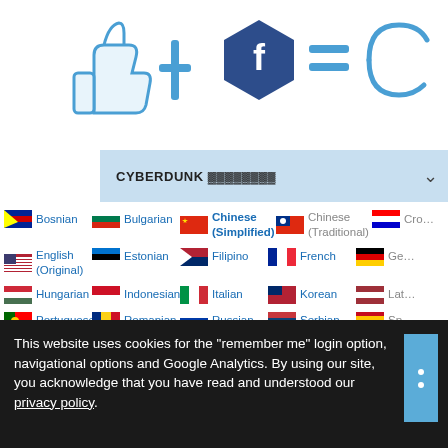[Figure (illustration): Like/thumbs-up icon + plus sign + Facebook hexagon icon + equals sign + partial icon, all in blue, forming a social login equation]
CYBERDUNK ▓▓▓▓▓▓▓▓
Bosnian
Bulgarian
Chinese ( Simplified )
Chinese ( Traditional )
Croatian
English ( Original )
Estonian
Filipino
French
German
Hungarian
Indonesian
Italian
Korean
Latvian
Portuguese
Romanian
Russian
Serbian
Spanish
Vietnamese
This website uses cookies for the "remember me" login option, navigational options and Google Analytics. By using our site, you acknowledge that you have read and understood our privacy policy.